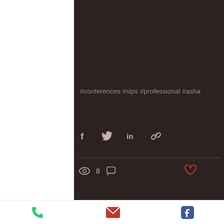#conferences #slps #professional #asha
[Figure (screenshot): Social share icons: Facebook, Twitter, LinkedIn, link]
8 views, comment icon, heart/like icon
Recent Posts
See All
[Figure (screenshot): Phone screen showing 'Apps for Parents - Supporting Communication Development']
[Figure (screenshot): Bottom navigation bar with phone, email, and Facebook icons]